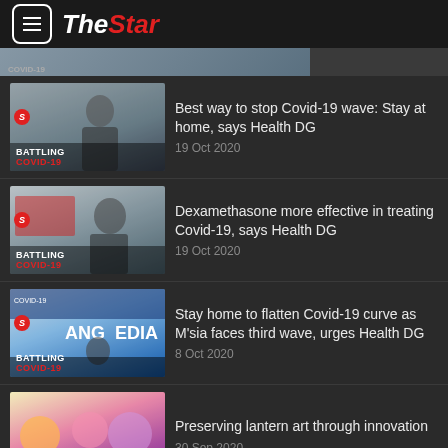The Star
[Figure (screenshot): Partial news thumbnail at top, partially visible]
Best way to stop Covid-19 wave: Stay at home, says Health DG — 19 Oct 2020
Dexamethasone more effective in treating Covid-19, says Health DG — 19 Oct 2020
Stay home to flatten Covid-19 curve as M'sia faces third wave, urges Health DG — 8 Oct 2020
Preserving lantern art through innovation — 30 Sep 2020
Talented Malaysian student creates her…